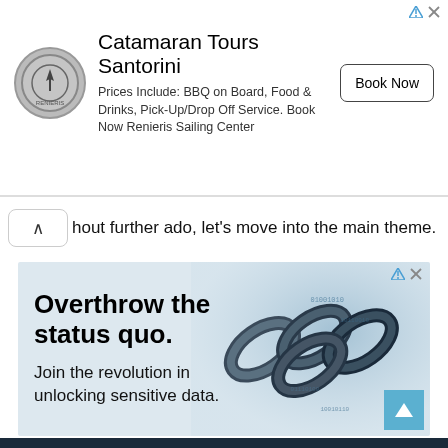[Figure (illustration): Top advertisement banner for Catamaran Tours Santorini with circular logo, text about BBQ on Board food drinks pick-up/drop-off service, and a Book Now button]
hout further ado, let's move into the main theme.
[Figure (illustration): Advertisement banner with text 'Overthrow the status quo. Join the revolution in unlocking sensitive data.' with chain link image on a light blue background]